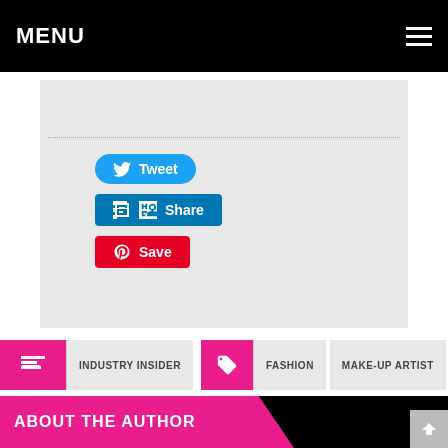MENU
[Figure (screenshot): Social sharing buttons: Tweet (Twitter/blue), Share (LinkedIn/blue), Save (Pinterest/red) on a light grey background panel]
INDUSTRY INSIDER
FASHION
MAKE-UP ARTIST
MODELS
OUTFIT
PHOTOGRAPHY
PHOTOSHOOT
TEAM
ABOUT THE AUTHOR